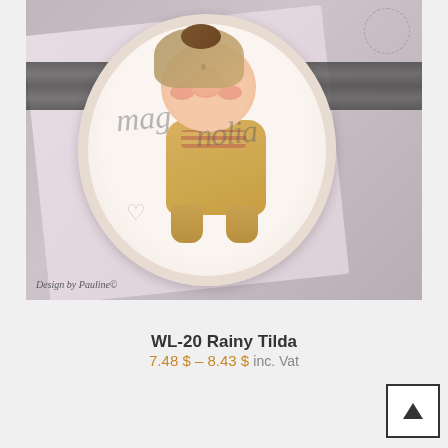[Figure (photo): Product photo of a handmade craft card featuring Magnolia's 'Rainy Tilda' stamp. A cute character with a big nose wearing a yellow/tan raincoat and boots is shown on a scalloped oval white card mounted on a pink background card. The word 'magnolia' is written in cursive over the character. Text 'Design by Pauline©' appears in the bottom left corner of the photo.]
WL-20 Rainy Tilda
7.48 $ – 8.43 $ inc. Vat